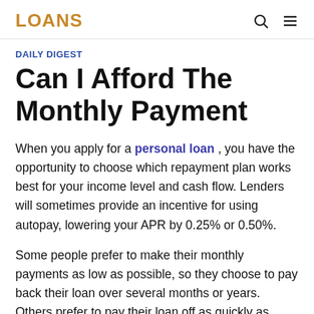LOANS
DAILY DIGEST
Can I Afford The Monthly Payment
When you apply for a personal loan , you have the opportunity to choose which repayment plan works best for your income level and cash flow. Lenders will sometimes provide an incentive for using autopay, lowering your APR by 0.25% or 0.50%.
Some people prefer to make their monthly payments as low as possible, so they choose to pay back their loan over several months or years. Others prefer to pay their loan off as quickly as possible, so they choose the highest monthly